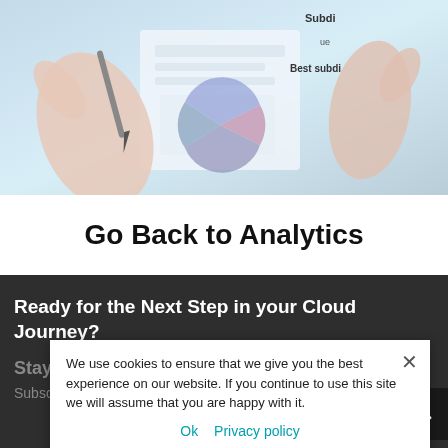[Figure (photo): Hero image showing hands holding a pen over documents with charts/analytics data visible, blue-toned background]
Go Back to Analytics
Ready for the Next Step in your Cloud Journey?
Stay Informed
Subscribe to receive cloud tips and news.
We use cookies to ensure that we give you the best experience on our website. If you continue to use this site we will assume that you are happy with it.
Ok  Privacy policy